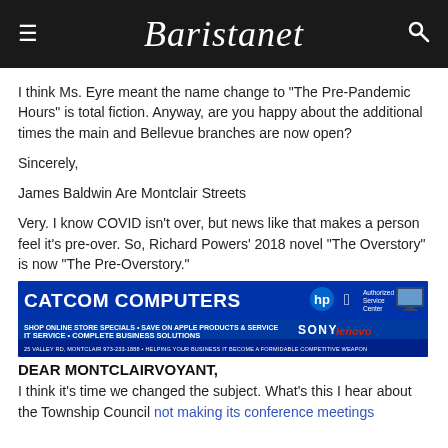Baristanet
I think Ms. Eyre meant the name change to “The Pre-Pandemic Hours” is total fiction. Anyway, are you happy about the additional times the main and Bellevue branches are now open?
Sincerely,
James Baldwin Are Montclair Streets
Very. I know COVID isn’t over, but news like that makes a person feel it’s pre-over. So, Richard Powers’ 2018 novel “The Overstory” is now “The Pre-Overstory.”
[Figure (infographic): CATCOM COMPUTERS advertisement with HP, Apple Authorized Service Center, Sony, Lenovo logos. Text: SHOP ONLINE STORE SPECIALS • SAVE ON APPLE PRODUCTS & SERVICE, IT SERVICE • COMPLETE BUSINESS SOLUTIONS, 25 VALLEY RD, MONTCLAIR 973-233-1888 • HELPING YOUR BUSINESS IT BECOME A FORMIDABLE COMPETITIVE WEAPON]
DEAR MONTCLAIRVOYANT,
I think it’s time we changed the subject. What’s this I hear about the Township Council not making its conference meetings